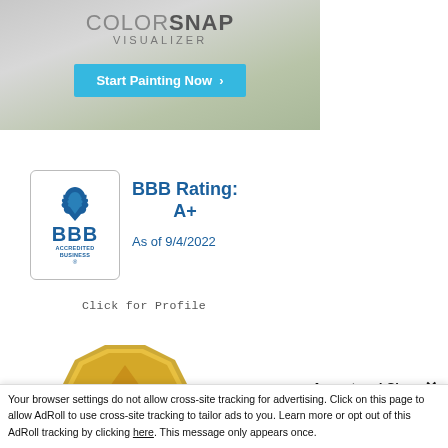[Figure (screenshot): ColorSnap Visualizer advertisement banner with 'Start Painting Now' button on a light blue/teal background with bedroom image]
[Figure (logo): Better Business Bureau (BBB) Accredited Business badge with flame logo]
BBB Rating:
A+

As of 9/4/2022
Click for Profile
[Figure (illustration): Gold star/badge medallion partially visible at bottom of page]
Accept and Close ×
Your browser settings do not allow cross-site tracking for advertising. Click on this page to allow AdRoll to use cross-site tracking to tailor ads to you. Learn more or opt out of this AdRoll tracking by clicking here. This message only appears once.